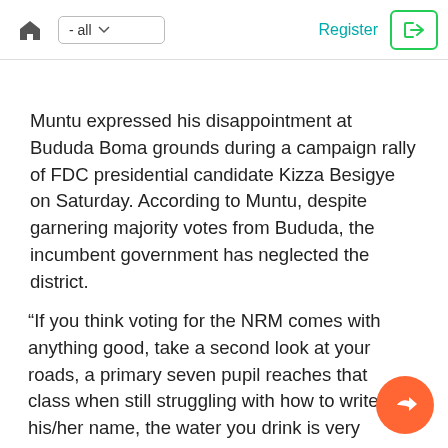home  - all  Register  login
Muntu expressed his disappointment at Bududa Boma grounds during a campaign rally of FDC presidential candidate Kizza Besigye on Saturday. According to Muntu, despite garnering majority votes from Bududa, the incumbent government has neglected the district.
“If you think voting for the NRM comes with anything good, take a second look at your roads, a primary seven pupil reaches that class when still struggling with how to write his/her name, the water you drink is very dirty, what